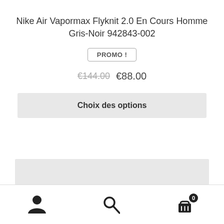Nike Air Vapormax Flyknit 2.0 En Cours Homme Gris-Noir 942843-002
PROMO !
€144.00  €88.00
Choix des options
[Figure (other): Gray placeholder bar at bottom of product section]
User icon | Search icon | Cart icon with badge 0